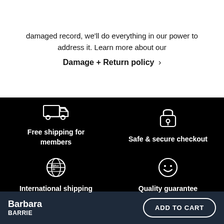damaged record, we'll do everything in our power to address it. Learn more about our
Damage + Return policy ›
[Figure (infographic): Black section with four feature cells: truck icon with 'Free shipping for members', lock icon with 'Safe & secure checkout', globe icon with 'International shipping', smiley face icon with 'Quality guarantee']
Barbara BARRIE  ADD TO CART